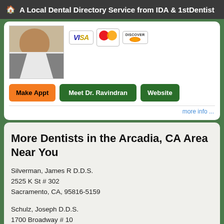A Local Dental Directory Service from IDA & 1stDentist
[Figure (photo): Partial photo of a dentist (Dr. Ravindran) in white coat, cropped at upper body. Payment card icons for Visa, MasterCard, and Discover are shown to the right.]
Make Appt   Meet Dr. Ravindran   Website
more info ...
More Dentists in the Arcadia, CA Area Near You
Silverman, James R D.D.S.
2525 K St # 302
Sacramento, CA, 95816-5159
Schulz, Joseph D.D.S.
1700 Broadway # 10
Oakland, CA, 94612-2141